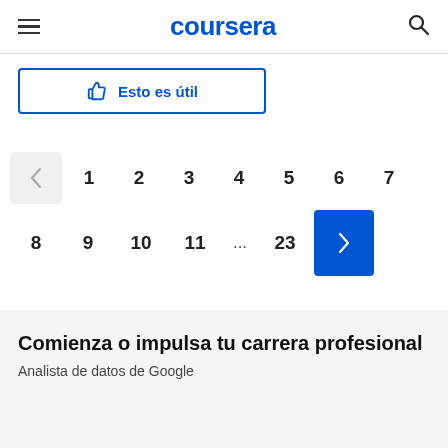coursera
Esto es útil
1  2  3  4  5  6  7
8  9  10  11  ...  23  >
Comienza o impulsa tu carrera profesional
Analista de datos de Google